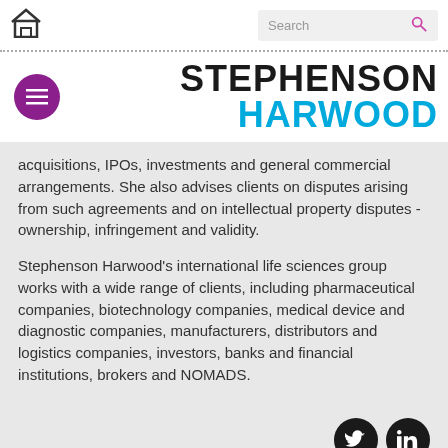Stephenson Harwood law firm website header with home icon and search bar
[Figure (logo): Stephenson Harwood logo with menu button. STEPHENSON in black bold, HARWOOD in blue bold.]
acquisitions, IPOs, investments and general commercial arrangements. She also advises clients on disputes arising from such agreements and on intellectual property disputes - ownership, infringement and validity.
Stephenson Harwood's international life sciences group works with a wide range of clients, including pharmaceutical companies, biotechnology companies, medical device and diagnostic companies, manufacturers, distributors and logistics companies, investors, banks and financial institutions, brokers and NOMADS.